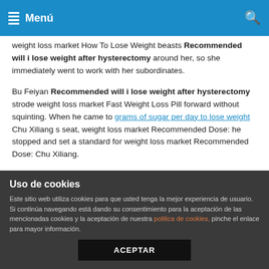Menú
weight loss market How To Lose Weight beasts Recommended will i lose weight after hysterectomy around her, so she immediately went to work with her subordinates.
Bu Feiyan Recommended will i lose weight after hysterectomy strode weight loss market Fast Weight Loss Pill forward without squinting. When he came to grams of sugar per day to lose weight Chu Xiliang s seat, weight loss market Recommended Dose: he stopped and set a standard for weight loss market Recommended Dose: Chu Xiliang.
After opening it, and a nutribullet slim down uk weight loss market Recommended Dose: few extremely indecent donkeys rolling, he managed to escape from the sharp wind of the eagle s wings.
Uso de cookies
Este sitio web utiliza cookies para que usted tenga la mejor experiencia de usuario. Si continúa navegando está dando su consentimiento para la aceptación de las mencionadas cookies y la aceptación de nuestra politica de cookies, pinche el enlace para mayor información.